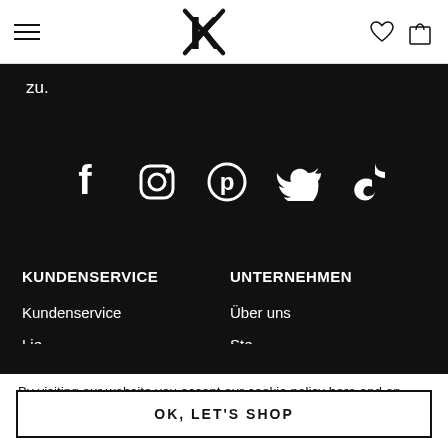Navigation header with hamburger menu, logo (K), heart icon, bag icon
zu.
[Figure (infographic): Social media icons row: Facebook, Instagram, Pinterest, Twitter, TikTok — white on black background]
KUNDENSERVICE
UNTERNEHMEN
Kundenservice
Über uns
By visiting our website you accept our cookie policy here and on other platforms.
OK, LET'S SHOP